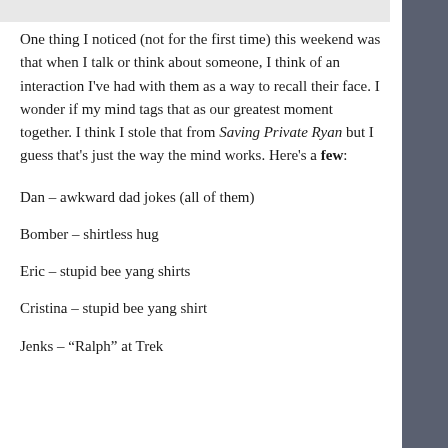One thing I noticed (not for the first time) this weekend was that when I talk or think about someone, I think of an interaction I've had with them as a way to recall their face. I wonder if my mind tags that as our greatest moment together. I think I stole that from Saving Private Ryan but I guess that's just the way the mind works. Here's a few:
Dan – awkward dad jokes (all of them)
Bomber – shirtless hug
Eric – stupid bee yang shirts
Cristina – stupid bee yang shirt
Jenks – “Ralph” at Trek